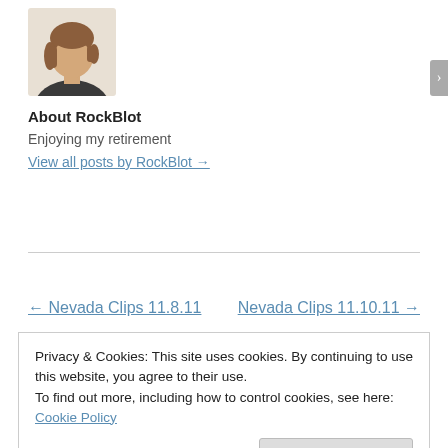[Figure (illustration): Avatar image of a woman with brown hair wearing a dark blazer, generic placeholder style]
About RockBlot
Enjoying my retirement
View all posts by RockBlot →
← Nevada Clips 11.8.11
Nevada Clips 11.10.11 →
Privacy & Cookies: This site uses cookies. By continuing to use this website, you agree to their use.
To find out more, including how to control cookies, see here: Cookie Policy
Close and accept